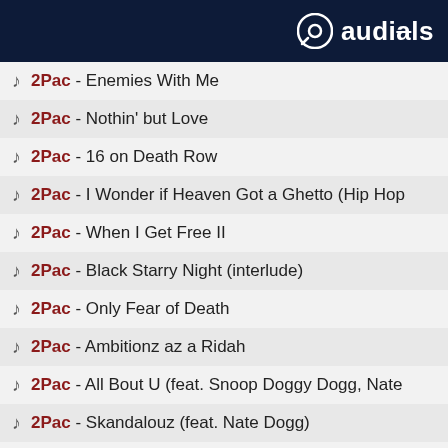audials
2Pac - Enemies With Me
2Pac - Nothin' but Love
2Pac - 16 on Death Row
2Pac - I Wonder if Heaven Got a Ghetto (Hip Hop
2Pac - When I Get Free II
2Pac - Black Starry Night (interlude)
2Pac - Only Fear of Death
2Pac - Ambitionz az a Ridah
2Pac - All Bout U (feat. Snoop Doggy Dogg, Nate
2Pac - Skandalouz (feat. Nate Dogg)
2Pac - Got My Mind Made Up (feat. Dat Nigga Daz,